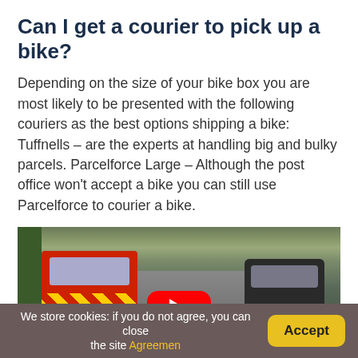Can I get a courier to pick up a bike?
Depending on the size of your bike box you are most likely to be presented with the following couriers as the best options shipping a bike: Tuffnells – are the experts at handling big and bulky parcels. Parcelforce Large – Although the post office won't accept a bike you can still use Parcelforce to courier a bike.
[Figure (photo): Video thumbnail showing a cyclist's point-of-view riding through a busy street with a red delivery van and other cars. A YouTube play button is overlaid on the center of the image.]
We store cookies: if you do not agree, you can close the site Agreemen